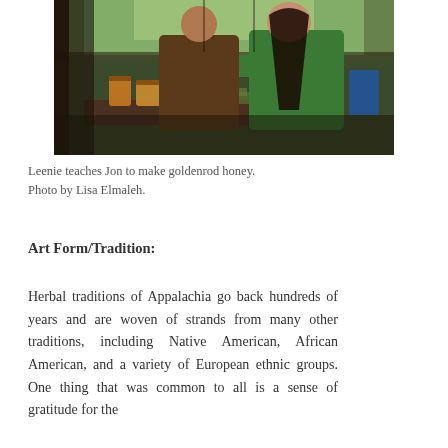[Figure (photo): Two people standing at a table on a wooden porch or cabin setting, surrounded by greenery visible through windows. On the table are jars of honey and plant materials. A person in a green sweater is gesturing, teaching another person in a brown shirt how to make goldenrod honey.]
Leenie teaches Jon to make goldenrod honey. Photo by Lisa Elmaleh.
Art Form/Tradition:
Herbal traditions of Appalachia go back hundreds of years and are woven of strands from many other traditions, including Native American, African American, and a variety of European ethnic groups. One thing that was common to all is a sense of gratitude for the